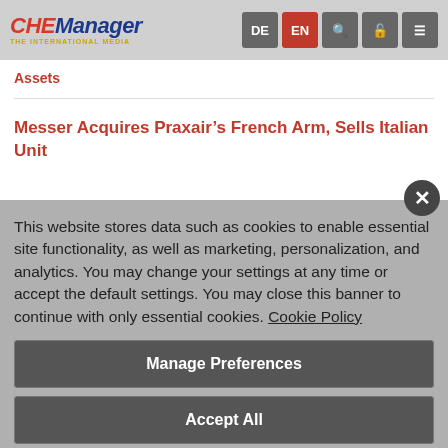CHEManager | DE EN [search] [lock] [menu]
Assets
Messer Acquires Praxair’s French Arm, Sells Italian Unit
This website stores data such as cookies to enable essential site functionality, as well as marketing, personalization, and analytics. You may change your settings at any time or accept the default settings. You may close this banner to continue with only essential cookies. Cookie Policy
Manage Preferences
Accept All
Reject All